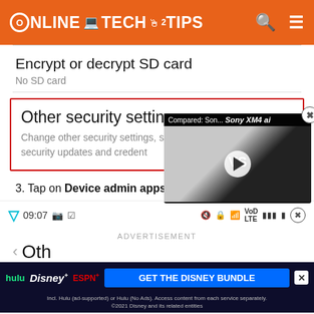[Figure (screenshot): Online Tech Tips website header with orange background, logo, search and menu icons]
Encrypt or decrypt SD card
No SD card
[Figure (screenshot): Android settings menu item 'Other security settings' highlighted with red border, with a video overlay showing AirPods vs Sony XM4 comparison]
3. Tap on Device admin apps.
[Figure (screenshot): Android phone status bar showing time 09:07 and various status icons]
ADVERTISEMENT
Oth...  (partial text of Other security settings)
[Figure (screenshot): Disney Bundle advertisement banner with Hulu, Disney+, ESPN+ logos and GET THE DISNEY BUNDLE CTA]